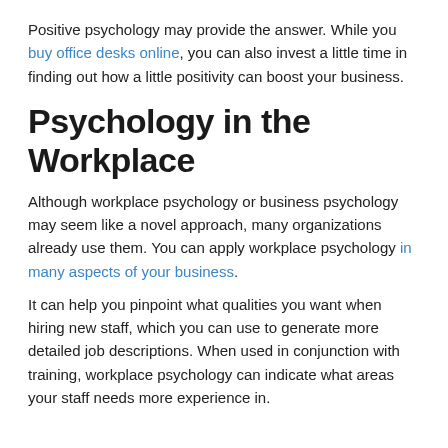Positive psychology may provide the answer. While you buy office desks online, you can also invest a little time in finding out how a little positivity can boost your business.
Psychology in the Workplace
Although workplace psychology or business psychology may seem like a novel approach, many organizations already use them. You can apply workplace psychology in many aspects of your business.
It can help you pinpoint what qualities you want when hiring new staff, which you can use to generate more detailed job descriptions. When used in conjunction with training, workplace psychology can indicate what areas your staff needs more experience in.